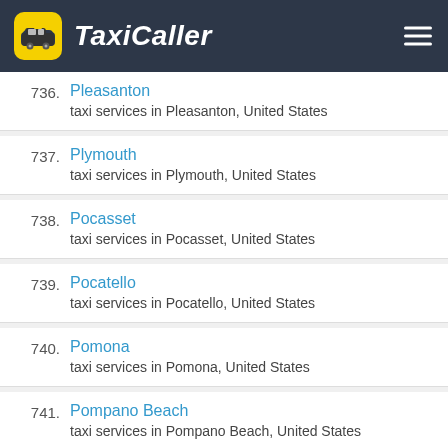TaxiCaller
736. Pleasanton
taxi services in Pleasanton, United States
737. Plymouth
taxi services in Plymouth, United States
738. Pocasset
taxi services in Pocasset, United States
739. Pocatello
taxi services in Pocatello, United States
740. Pomona
taxi services in Pomona, United States
741. Pompano Beach
taxi services in Pompano Beach, United States
742. Port Angeles
taxi services in Port Angeles, United States